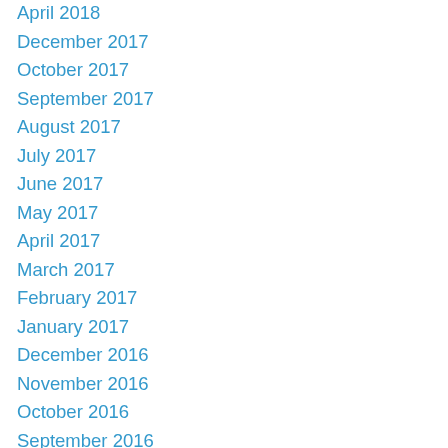April 2018
December 2017
October 2017
September 2017
August 2017
July 2017
June 2017
May 2017
April 2017
March 2017
February 2017
January 2017
December 2016
November 2016
October 2016
September 2016
August 2016
July 2016
June 2016
May 2016